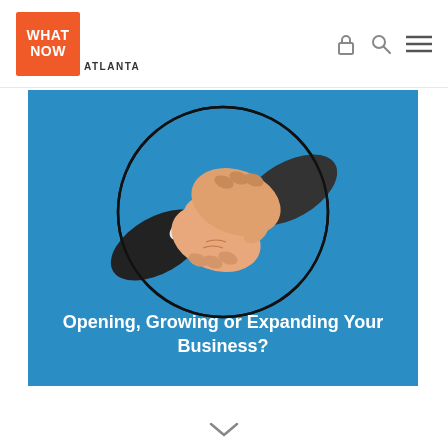WHAT NOW ATLANTA
[Figure (illustration): Handshake illustration on blue background with text 'Opening, Growing or Expanding Your Business?']
Opening, Growing or Expanding Your Business?